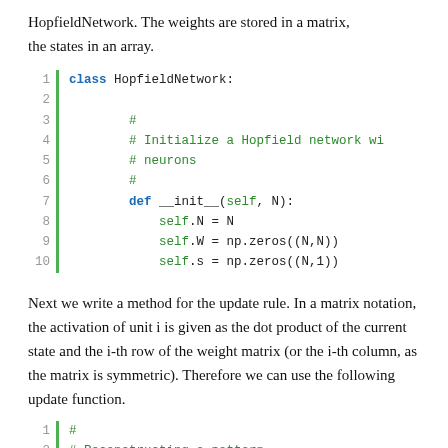HopfieldNetwork. The weights are stored in a matrix, the states in an array.
class HopfieldNetwork:
  #
  # Initialize a Hopfield network wi
  # neurons
  #
  def __init__(self, N):
    self.N = N
    self.W = np.zeros((N,N))
    self.s = np.zeros((N,1))
Next we write a method for the update rule. In a matrix notation, the activation of unit i is given as the dot product of the current state and the i-th row of the weight matrix (or the i-th column, as the matrix is symmetric). Therefore we can use the following update function.
#
# Reconstructing a pattern